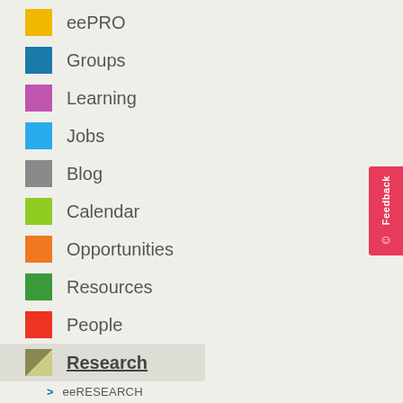eePRO
Groups
Learning
Jobs
Blog
Calendar
Opportunities
Resources
People
Research
eeRESEARCH